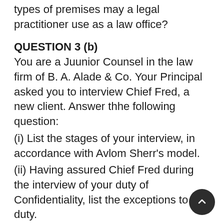types of premises may a legal practitioner use as a law office?
QUESTION 3 (b)
You are a Juunior Counsel in the law firm of B. A. Alade & Co. Your Principal asked you to interview Chief Fred, a new client. Answer thhe following question:
(i) List the stages of your interview, in accordance with Avlom Sherr's model.
(ii) Having assured Chief Fred during the interview of your duty of Confidentiality, list the exceptions to the duty.
(iii) Assuming that after listening to